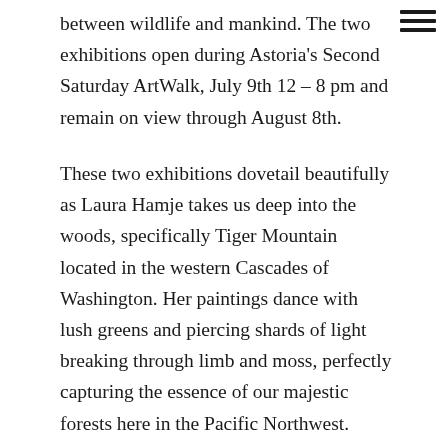between wildlife and mankind. The two exhibitions open during Astoria's Second Saturday ArtWalk, July 9th 12 – 8 pm and remain on view through August 8th.
These two exhibitions dovetail beautifully as Laura Hamje takes us deep into the woods, specifically Tiger Mountain located in the western Cascades of Washington. Her paintings dance with lush greens and piercing shards of light breaking through limb and moss, perfectly capturing the essence of our majestic forests here in the Pacific Northwest. Hamje had the opportunity to live in the woods for an extended period of time during the pandemic. The experience made a profound impact on her and her art. Known for her gestural brushwork she depicts dense undergrowth, tangled ferns fighting for light filtered through moss and lichen. She captures the crispness of clean air, shattered by verdant branch and limb. About the series and her experience working in her studio in the woods, she states: